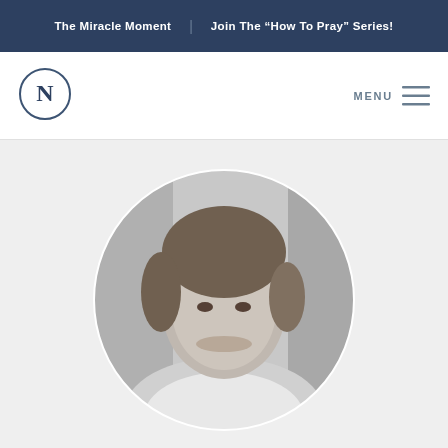The Miracle Moment | Join The "How To Pray" Series!
[Figure (logo): Circular logo with letter N inside, dark blue outline]
MENU
[Figure (photo): Black and white circular-cropped portrait photo of a smiling middle-aged woman with short hair, wearing a white top, photographed against a wooden background]